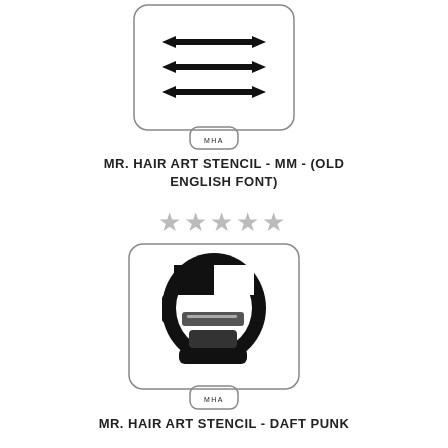[Figure (illustration): Mr. Hair Art stencil card with MM design showing three horizontal double-headed arrows and MHA logo tab at bottom]
MR. HAIR ART STENCIL - MM - (OLD ENGLISH FONT)
[Figure (illustration): Five grey star rating icons]
[Figure (illustration): Mr. Hair Art stencil card with Daft Punk helmet design in black and white silhouette and MHA logo tab at bottom]
MR. HAIR ART STENCIL - DAFT PUNK